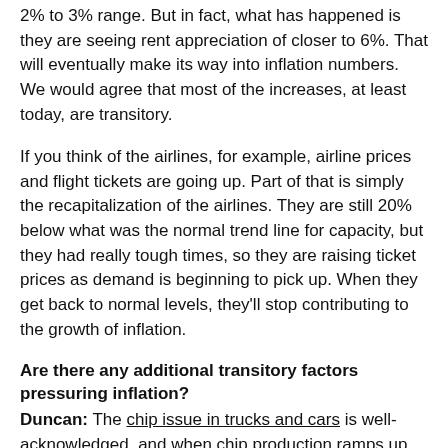2% to 3% range. But in fact, what has happened is they are seeing rent appreciation of closer to 6%. That will eventually make its way into inflation numbers. We would agree that most of the increases, at least today, are transitory.
If you think of the airlines, for example, airline prices and flight tickets are going up. Part of that is simply the recapitalization of the airlines. They are still 20% below what was the normal trend line for capacity, but they had really tough times, so they are raising ticket prices as demand is beginning to pick up. When they get back to normal levels, they'll stop contributing to the growth of inflation.
Are there any additional transitory factors pressuring inflation?
Duncan: The chip issue in trucks and cars is well-acknowledged, and when chip production ramps up, we would expect to see the prices of used cars actually come down. So those things,